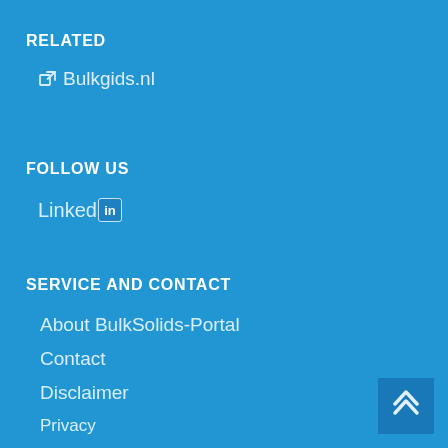RELATED
Bulkgids.nl
FOLLOW US
LinkedIn
SERVICE AND CONTACT
About BulkSolids-Portal
Contact
Disclaimer
Privacy
Advertising
Control panel login